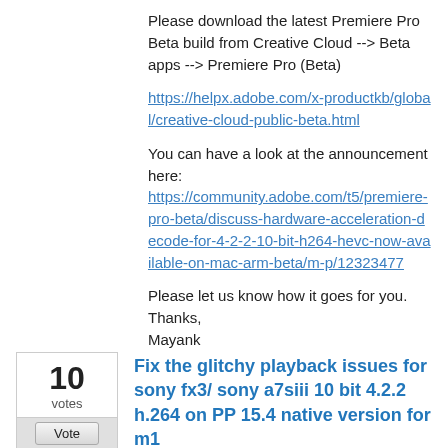Please download the latest Premiere Pro Beta build from Creative Cloud --> Beta apps --> Premiere Pro (Beta)

https://helpx.adobe.com/x-productkb/global/creative-cloud-public-beta.html

You can have a look at the announcement here: https://community.adobe.com/t5/premiere-pro-beta/discuss-hardware-acceleration-decode-for-4-2-2-10-bit-h264-hevc-now-available-on-mac-arm-beta/m-p/12323477

Please let us know how it goes for you.
Thanks,
Mayank
10
votes
Vote
Fix the glitchy playback issues for sony fx3/ sony a7siii 10 bit 4.2.2 h.264 on PP 15.4 native version for m1